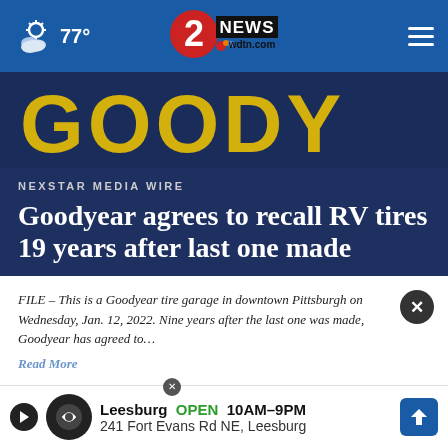77° | 2 NEWS wdtn.com
[Figure (photo): Dark blue background with yellow Goodyear letters partially visible]
NEXSTAR MEDIA WIRE
Goodyear agrees to recall RV tires 19 years after last one made
FILE – This is a Goodyear tire garage in downtown Pittsburgh on Wednesday, Jan. 12, 2022. Nine years after the last one was made, Goodyear has agreed to…
Read More
by: The Associated Press
Posted: Jun 7, 2022 / 12:04 PM EDT
Updated: Jun 7, 2022 / 12:04 PM EDT
[Figure (other): Advertisement banner: Leesburg OPEN 10AM-9PM, 241 Fort Evans Rd NE, Leesburg]